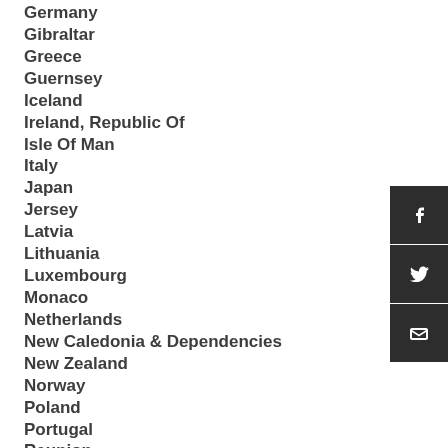Germany
Gibraltar
Greece
Guernsey
Iceland
Ireland, Republic Of
Isle Of Man
Italy
Japan
Jersey
Latvia
Lithuania
Luxembourg
Monaco
Netherlands
New Caledonia & Dependencies
New Zealand
Norway
Poland
Portugal
Reunion
Romania
Slovakia
Slovenia
Spain
[Figure (infographic): Social sharing buttons: Facebook, Twitter, Email]